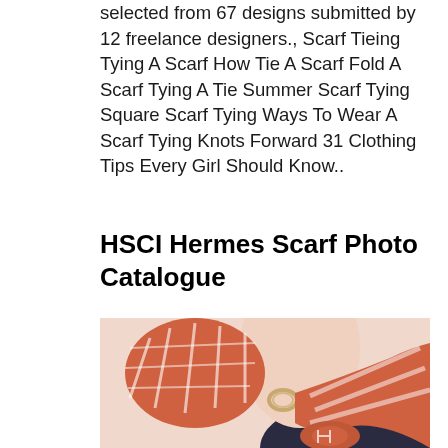selected from 67 designs submitted by 12 freelance designers., Scarf Tieing Tying A Scarf How Tie A Scarf Fold A Scarf Tying A Tie Summer Scarf Tying Square Scarf Tying Ways To Wear A Scarf Tying Knots Forward 31 Clothing Tips Every Girl Should Know..
HSCI Hermes Scarf Photo Catalogue
[Figure (photo): Close-up photo of a person wearing a coral/orange and white patterned Hermes scarf tied around their neck with a decorative ring or clasp, against a dark navy top background.]